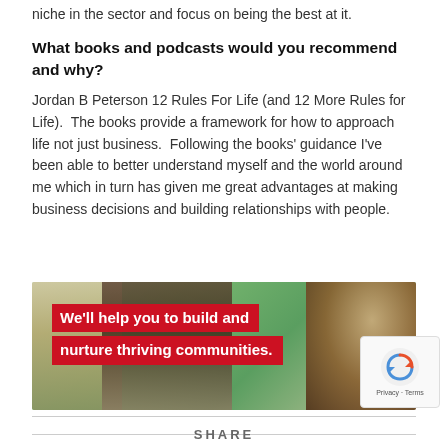niche in the sector and focus on being the best at it.
What books and podcasts would you recommend and why?
Jordan B Peterson 12 Rules For Life (and 12 More Rules for Life).  The books provide a framework for how to approach life not just business.  Following the books' guidance I've been able to better understand myself and the world around me which in turn has given me great advantages at making business decisions and building relationships with people.
[Figure (photo): Banner image showing people from behind with red overlay text reading 'We'll help you to build and nurture thriving communities.']
SHARE